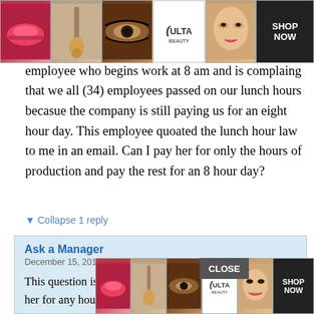[Figure (photo): ULTA beauty advertisement banner at top showing lips, makeup brush, eye with mascara, ULTA logo, woman's face, and SHOP NOW button]
Our company is providing the transportation I have an employee who begins work at 8 am and is complaing that we all (34) employees passed on our lunch hours becasue the company is still paying us for an eight hour day. This employee quoated the lunch hour law to me in an email. Can I pay her for only the hours of production and pay the rest for an 8 hour day?
▼ Collapse 1 reply
Ask a Manager
December 15, 2011 at 3:53 pm
This question isn't totally clear to me. You do need to pay her for any hours that she's required to be working or attending
[Figure (photo): ULTA beauty advertisement banner at bottom with CLOSE button overlapping, showing lips, brush, eye, ULTA logo, face, and SHOP NOW button]